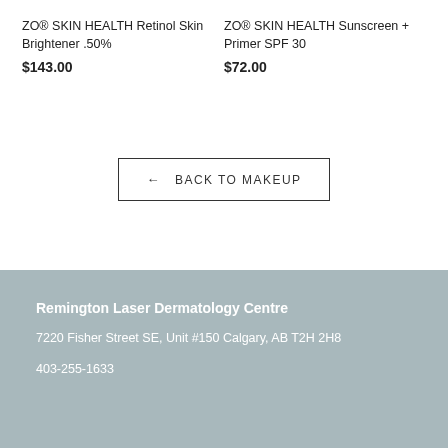ZO® SKIN HEALTH Retinol Skin Brightener .50%
$143.00
ZO® SKIN HEALTH Sunscreen + Primer SPF 30
$72.00
← BACK TO MAKEUP
Remington Laser Dermatology Centre
7220 Fisher Street SE, Unit #150 Calgary, AB T2H 2H8
403-255-1633